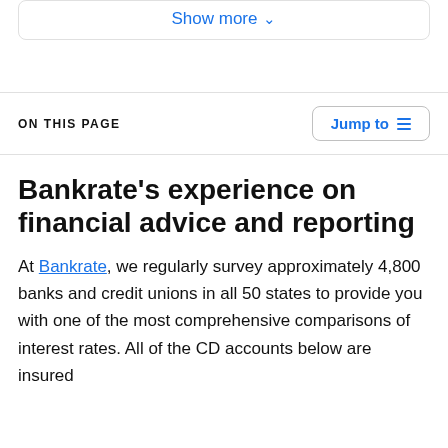Show more ∨
ON THIS PAGE
Bankrate's experience on financial advice and reporting
At Bankrate, we regularly survey approximately 4,800 banks and credit unions in all 50 states to provide you with one of the most comprehensive comparisons of interest rates. All of the CD accounts below are insured